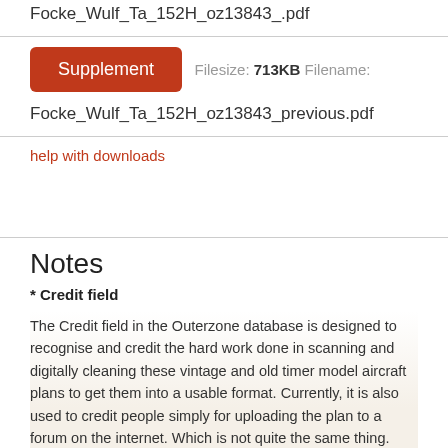Focke_Wulf_Ta_152H_oz13843_.pdf
Supplement Filesize: 713KB Filename:
Focke_Wulf_Ta_152H_oz13843_previous.pdf
help with downloads
Notes
* Credit field
The Credit field in the Outerzone database is designed to recognise and credit the hard work done in scanning and digitally cleaning these vintage and old timer model aircraft plans to get them into a usable format. Currently, it is also used to credit people simply for uploading the plan to a forum on the internet. Which is not quite the same thing. This will change soon. Probably.